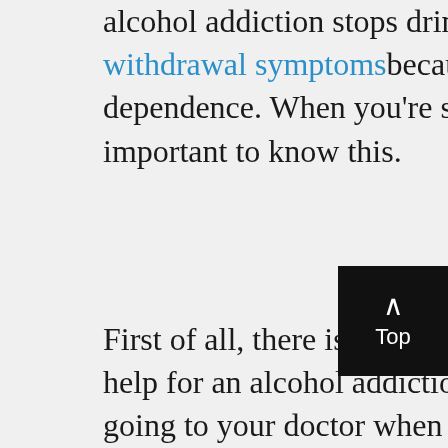alcohol addiction stops drinking, there are physiological withdrawal symptoms because of that chemical dependence. When you're seeking recovery, it's important to know this.
First of all, there is no reason to be ashamed of seeking help for an alcohol addiction. You wouldn't feel bad for going to your doctor when you break your arm or get the flu. Addiction recovery should be no different.
And you do need to seek out a program to help you with your recovery. Stopping drinking isn't as